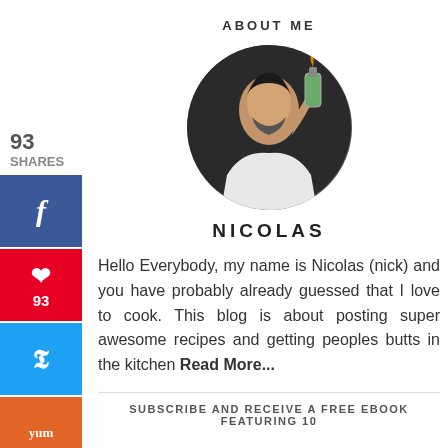ABOUT ME
[Figure (photo): Circular profile photo of Nicolas, a man with dark hair and beard using a kitchen torch over food]
NICOLAS
Hello Everybody, my name is Nicolas (nick) and you have probably already guessed that I love to cook. This blog is about posting super awesome recipes and getting peoples butts in the kitchen Read More...
93 SHARES
SUBSCRIBE AND RECEIVE A FREE EBOOK FEATURING 10